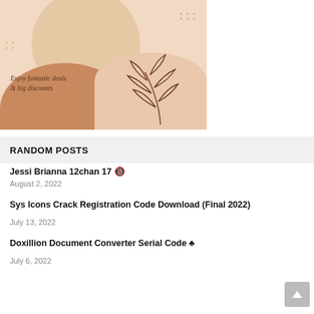[Figure (illustration): Promotional banner with tan/brown tote bags with flowers, decorative blobs and leaf illustration. Text reads 'Enjoy fantastic deals & big discounts']
RANDOM POSTS
Jessi Brianna 12chan 17 🔞
August 2, 2022
Sys Icons Crack Registration Code Download (Final 2022)
July 13, 2022
Doxillion Document Converter Serial Code ♣
July 6, 2022